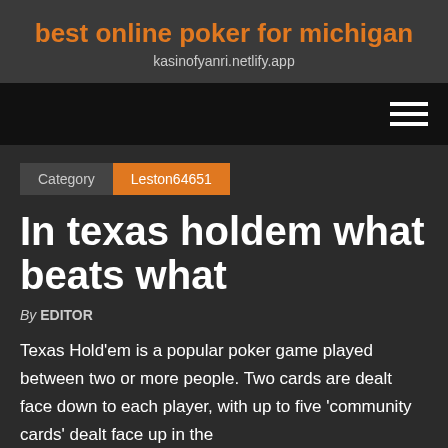best online poker for michigan
kasinofyanri.netlify.app
Category  Leston64651
In texas holdem what beats what
By EDITOR
Texas Hold'em is a popular poker game played between two or more people. Two cards are dealt face down to each player, with up to five 'community cards' dealt face up in the